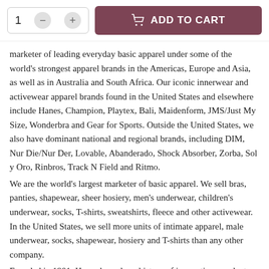[Figure (screenshot): E-commerce add to cart UI: quantity selector with minus and plus buttons showing '1', and a dark mauve 'ADD TO CART' button with shopping bag icon]
marketer of leading everyday basic apparel under some of the world's strongest apparel brands in the Americas, Europe and Asia, as well as in Australia and South Africa. Our iconic innerwear and activewear apparel brands found in the United States and elsewhere include Hanes, Champion, Playtex, Bali, Maidenform, JMS/Just My Size, Wonderbra and Gear for Sports. Outside the United States, we also have dominant national and regional brands, including DIM, Nur Die/Nur Der, Lovable, Abandonado, Shock Absorber, Zorba, Sol y Oro, Rinbros, Track N Field and Ritmo.
We are the world's largest marketer of basic apparel. We sell bras, panties, shapewear, sheer hosiery, men's underwear, children's underwear, socks, T-shirts, sweatshirts, fleece and other activewear. In the United States, we sell more units of intimate apparel, male underwear, socks, shapewear, hosiery and T-shirts than any other company.
Founded in 1901, Hanes has a long history of innovation, product excellence, and brand recognition. In fact, nearly 90 percent of